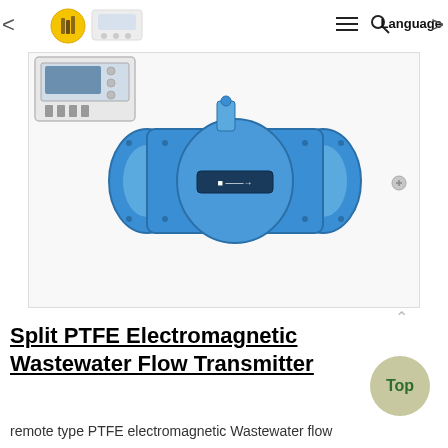< Language >
[Figure (photo): Blue electromagnetic flow meter / wastewater flow transmitter device with flanged connections on both sides, mounted on white background inside a bordered image frame. A separate rectangular transmitter box is partially visible in the upper left of the image area.]
Split PTFE Electromagnetic Wastewater Flow Transmitter
remote type PTFE electromagnetic Wastewater flow